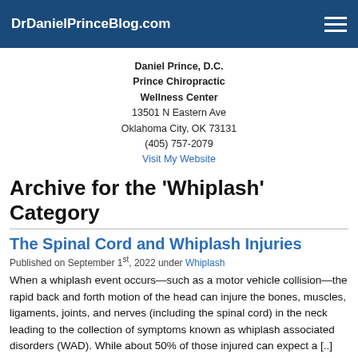DrDanielPrinceBlog.com
Daniel Prince, D.C.
Prince Chiropractic Wellness Center
13501 N Eastern Ave
Oklahoma City, OK 73131
(405) 757-2079
Visit My Website
Archive for the 'Whiplash' Category
The Spinal Cord and Whiplash Injuries
Published on September 1st, 2022 under Whiplash
When a whiplash event occurs—such as a motor vehicle collision—the rapid back and forth motion of the head can injure the bones, muscles, ligaments, joints, and nerves (including the spinal cord) in the neck leading to the collection of symptoms known as whiplash associated disorders (WAD). While about 50% of those injured can expect a [..]